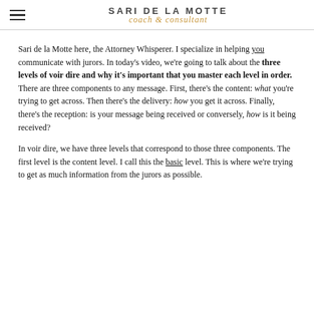SARI DE LA MOTTE coach & consultant
Sari de la Motte here, the Attorney Whisperer. I specialize in helping you communicate with jurors. In today's video, we're going to talk about the three levels of voir dire and why it's important that you master each level in order. There are three components to any message. First, there's the content: what you're trying to get across. Then there's the delivery: how you get it across. Finally, there's the reception: is your message being received or conversely, how is it being received?
In voir dire, we have three levels that correspond to those three components. The first level is the content level. I call this the basic level. This is where we're trying to get as much information from the jurors as possible.